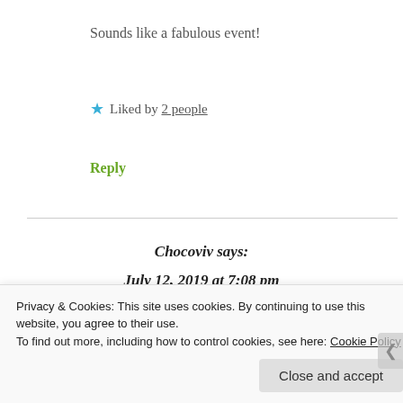Sounds like a fabulous event!
★ Liked by 2 people
Reply
Chocoviv says:
July 12, 2019 at 7:08 pm
It was!
Privacy & Cookies: This site uses cookies. By continuing to use this website, you agree to their use.
To find out more, including how to control cookies, see here: Cookie Policy
Close and accept